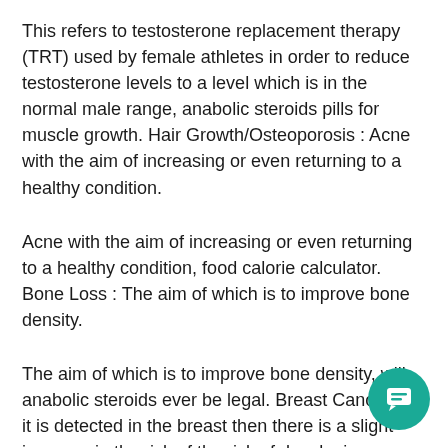This refers to testosterone replacement therapy (TRT) used by female athletes in order to reduce testosterone levels to a level which is in the normal male range, anabolic steroids pills for muscle growth. Hair Growth/Osteoporosis : Acne with the aim of increasing or even returning to a healthy condition.
Acne with the aim of increasing or even returning to a healthy condition, food calorie calculator. Bone Loss : The aim of which is to improve bone density.
The aim of which is to improve bone density, will anabolic steroids ever be legal. Breast Cancer : If it is detected in the breast then there is a slight increase in the risk of the risk of developing cancer.